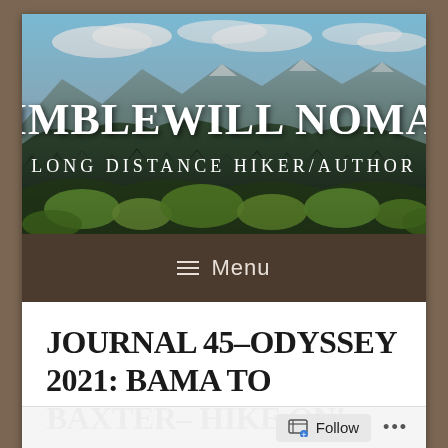[Figure (illustration): Hero banner image for blog 'Nimblewill Nomad – Long Distance Hiker/Author'. Scenic mountain landscape with blue sky, forested hillsides, and yellow-green vegetation in foreground. White text overlay reads 'NIMBLEWILL NOMAD' in large serif font and 'LONG DISTANCE HIKER/AUTHOR' below in smaller spaced serif font.]
≡  Menu
JOURNAL 45–ODYSSEY 2021: BAMA TO BAXTER– HIKE ON!